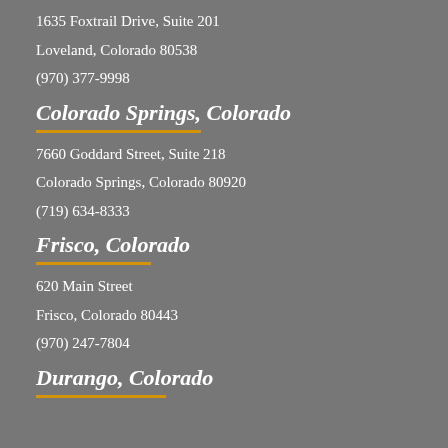1635 Foxtrail Drive, Suite 201
Loveland, Colorado 80538
(970) 377-9998
Colorado Springs, Colorado
7660 Goddard Street, Suite 218
Colorado Springs, Colorado 80920
(719) 634-8333
Frisco, Colorado
620 Main Street
Frisco, Colorado 80443
(970) 247-7804
Durango, Colorado